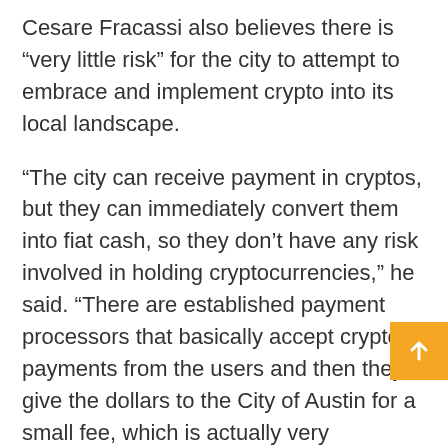Cesare Fracassi also believes there is “very little risk” for the city to attempt to embrace and implement crypto into its local landscape.
“The city can receive payment in cryptos, but they can immediately convert them into fiat cash, so they don’t have any risk involved in holding cryptocurrencies,” he said. “There are established payment processors that basically accept crypto payments from the users and then they give the dollars to the City of Austin for a small fee, which is actually very comparable to using credit cards or debit card transactions.”
“It isn’t a surprise to think Bitcoin and the Lightning Network are quickly becoming part of the local landscape,” Osmond told Be[In]Crypto. “When possible, we feel it’s important to champion local trends and support local businesses, especially when…”